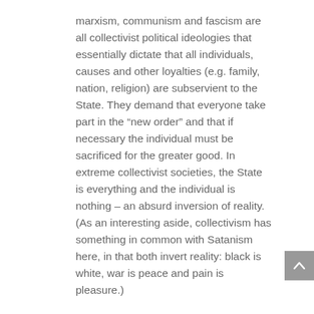marxism, communism and fascism are all collectivist political ideologies that essentially dictate that all individuals, causes and other loyalties (e.g. family, nation, religion) are subservient to the State. They demand that everyone take part in the “new order” and that if necessary the individual must be sacrificed for the greater good. In extreme collectivist societies, the State is everything and the individual is nothing – an absurd inversion of reality. (As an interesting aside, collectivism has something in common with Satanism here, in that both invert reality: black is white, war is peace and pain is pleasure.)
Collectivism allows for majority rule. A more intelligent and peaceful minority can easily be outvoted and turned upon by an emotional, low-minded majority – which is precisely why the US was set up as republic (with inbuilt projections for